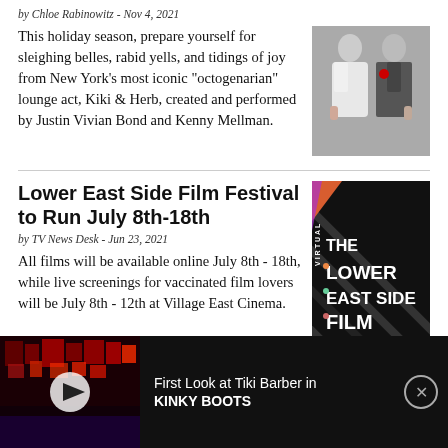by Chloe Rabinowitz - Nov 4, 2021
This holiday season, prepare yourself for sleighing belles, rabid yells, and tidings of joy from New York’s most iconic “octogenarian” lounge act, Kiki & Herb, created and performed by Justin Vivian Bond and Kenny Mellman.
[Figure (photo): Photo of two people (man and woman) posing together, formal attire]
Lower East Side Film Festival to Run July 8th-18th
by TV News Desk - Jun 23, 2021
All films will be available online July 8th - 18th, while live screenings for vaccinated film lovers will be July 8th - 12th at Village East Cinema.
[Figure (photo): The Lower East Side Film Festival logo on dark background with diagonal lines]
[Figure (photo): Video thumbnail of a stage show with red lighting, with play button overlay. Caption: First Look at Tiki Barber in KINKY BOOTS]